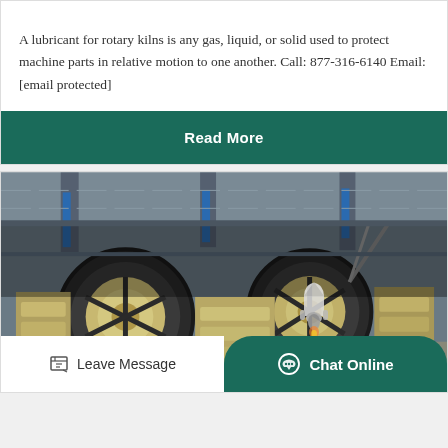A lubricant for rotary kilns is any gas, liquid, or solid used to protect machine parts in relative motion to one another. Call: 877-316-6140 Email: [email protected]
Read More
[Figure (photo): Industrial rotary kiln machinery in a factory setting — large circular wheel assemblies and jaw crusher equipment lined up in a large warehouse]
Leave Message
Chat Online